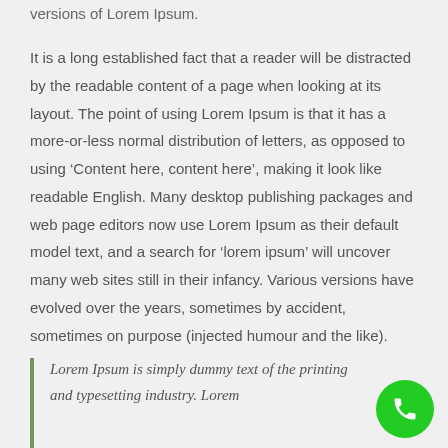versions of Lorem Ipsum.
It is a long established fact that a reader will be distracted by the readable content of a page when looking at its layout. The point of using Lorem Ipsum is that it has a more-or-less normal distribution of letters, as opposed to using ‘Content here, content here’, making it look like readable English. Many desktop publishing packages and web page editors now use Lorem Ipsum as their default model text, and a search for ‘lorem ipsum’ will uncover many web sites still in their infancy. Various versions have evolved over the years, sometimes by accident, sometimes on purpose (injected humour and the like).
Lorem Ipsum is simply dummy text of the printing and typesetting industry. Lorem